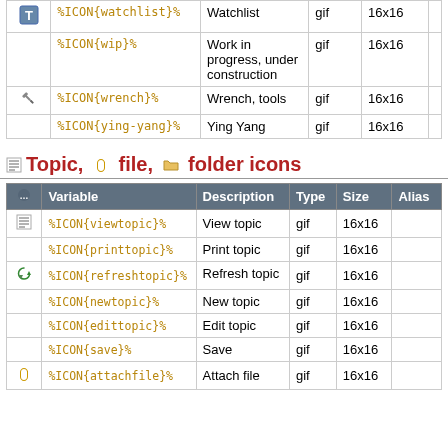|  | Variable | Description | Type | Size | Alias |
| --- | --- | --- | --- | --- | --- |
| [T icon] | %ICON{watchlist}% | Watchlist | gif | 16x16 |  |
|  | %ICON{wip}% | Work in progress, under construction | gif | 16x16 |  |
| [wrench icon] | %ICON{wrench}% | Wrench, tools | gif | 16x16 |  |
|  | %ICON{ying-yang}% | Ying Yang | gif | 16x16 |  |
Topic, file, folder icons
|  | Variable | Description | Type | Size | Alias |
| --- | --- | --- | --- | --- | --- |
| [topic icon] | %ICON{viewtopic}% | View topic | gif | 16x16 |  |
|  | %ICON{printtopic}% | Print topic | gif | 16x16 |  |
| [refresh icon] | %ICON{refreshtopic}% | Refresh topic | gif | 16x16 |  |
|  | %ICON{newtopic}% | New topic | gif | 16x16 |  |
|  | %ICON{edittopic}% | Edit topic | gif | 16x16 |  |
|  | %ICON{save}% | Save | gif | 16x16 |  |
| [attach icon] | %ICON{attachfile}% | Attach file | gif | 16x16 |  |